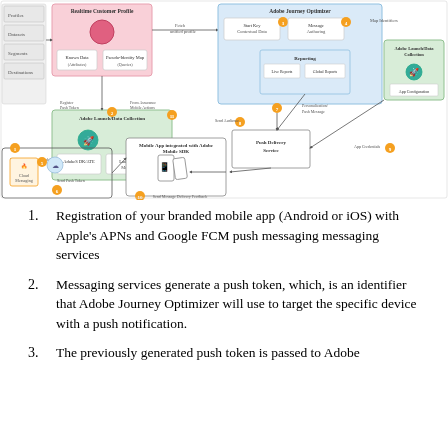[Figure (flowchart): Adobe Journey Optimizer push notification architecture diagram showing Realtime Customer Profile, Adobe Launch/Data Collection, Mobile App integrated with Adobe Mobile SDK, Cloud Messaging (Firebase/APNs), Adobe Journey Optimizer, Push Delivery Service, and Adobe Launch/Data Collection components connected by arrows with numbered steps 1-9.]
Registration of your branded mobile app (Android or iOS) with Apple's APNs and Google FCM push messaging messaging services
Messaging services generate a push token, which, is an identifier that Adobe Journey Optimizer will use to target the specific device with a push notification.
The previously generated push token is passed to Adobe